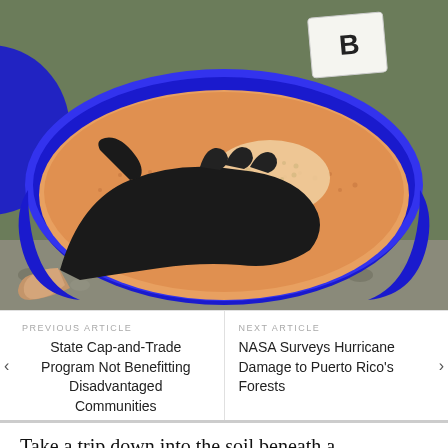[Figure (photo): A gloved hand (black nitrile glove) scooping light-tan granular material (soil or sand pellets) from a large blue plastic bowl/bucket. A labeled sample bag marked 'B' is visible in the background. The scene appears to be outdoors on a graveled surface.]
PREVIOUS ARTICLE
State Cap-and-Trade Program Not Benefitting Disadvantaged Communities
NEXT ARTICLE
NASA Surveys Hurricane Damage to Puerto Rico's Forests
Take a trip down into the soil beneath a